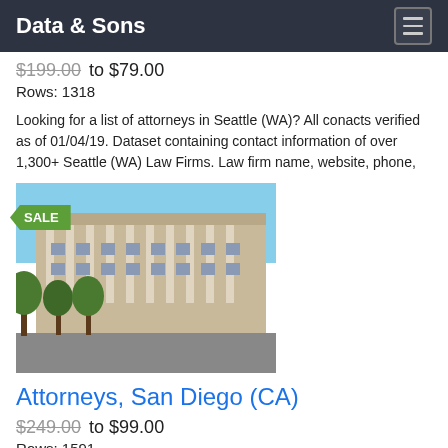Data & Sons
$199.00 to $79.00
Rows: 1318
Looking for a list of attorneys in Seattle (WA)? All conacts verified as of 01/04/19. Dataset containing contact information of over 1,300+ Seattle (WA) Law Firms. Law firm name, website, phone,
[Figure (photo): Photo of a large neoclassical government/courthouse building with columns, trees in foreground, blue sky background. A green SALE badge overlays the top-left corner.]
Attorneys, San Diego (CA)
$249.00 to $99.00
Rows: 1591